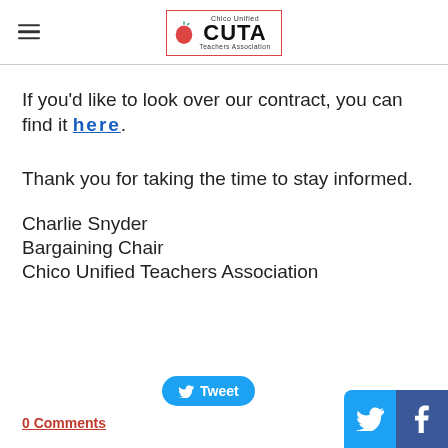[Figure (logo): Chico Unified CUTA Teachers Association logo with red apple and text]
If you'd like to look over our contract, you can find it here.
Thank you for taking the time to stay informed.
Charlie Snyder
Bargaining Chair
Chico Unified Teachers Association
[Figure (other): Tweet button]
0 Comments